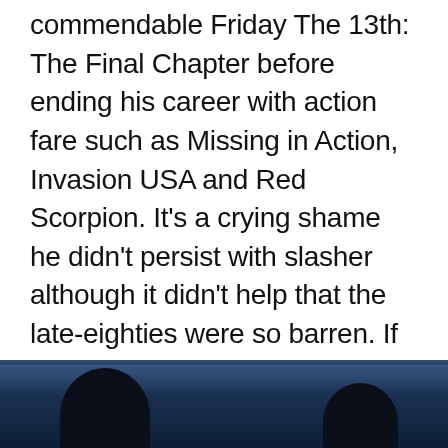commendable Friday The 13th: The Final Chapter before ending his career with action fare such as Missing in Action, Invasion USA and Red Scorpion. It's a crying shame he didn't persist with slasher although it didn't help that the late-eighties were so barren. If you haven't had the gratification of watching Zito's film yet then you'll be glad to know that it is now obtainable in its uncensored format and there really is no reason not to seek a copy down pronto. Just remember, as much as it stands on its own merits, this film belongs to The Sultan of Splatter.
[Figure (photo): Dark photo showing silhouetted figures against a blue-tinted background, partially visible at the bottom of the page]